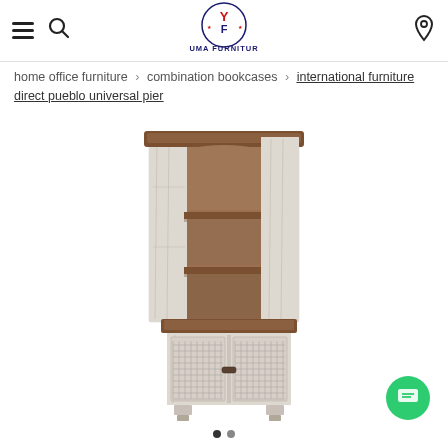Houston's Yuma Furniture — navigation header with hamburger menu, search, logo, and location icon
home office furniture › combination bookcases › international furniture direct pueblo universal pier
[Figure (photo): International Furniture Direct Pueblo Universal Pier bookcase — a tall rustic white-washed wood cabinet with open shelving in the upper section (three shelves with warm brown wood interior) and two doors with metal mesh inserts in the lower cabinet section, shown on a white background.]